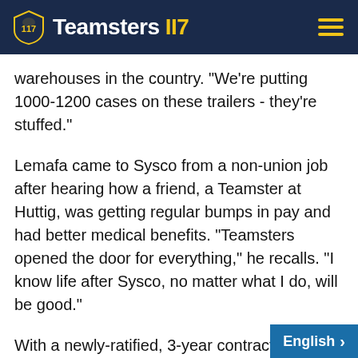Teamsters 117
warehouses in the country. "We're putting 1000-1200 cases on these trailers - they're stuffed."
Lemafa came to Sysco from a non-union job after hearing how a friend, a Teamster at Huttig, was getting regular bumps in pay and had better medical benefits. "Teamsters opened the door for everything," he recalls. "I know life after Sysco, no matter what I do, will be good."
With a newly-ratified, 3-year contract, life is good now for Lemafa and his co-workers, he says. The agreement, which the group voted overwhelmingly to approve in October, raises wages by